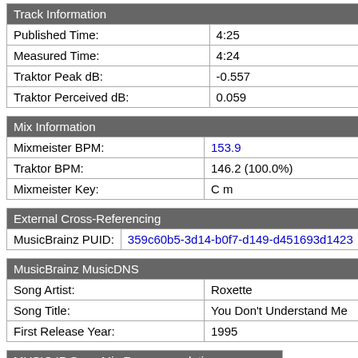| Track Information |  |
| --- | --- |
| Published Time: | 4:25 |
| Measured Time: | 4:24 |
| Traktor Peak dB: | -0.557 |
| Traktor Perceived dB: | 0.059 |
| Mix Information |  |
| --- | --- |
| Mixmeister BPM: | 153.9 |
| Traktor BPM: | 146.2 (100.0%) |
| Mixmeister Key: | C m |
| External Cross-Referencing |  |
| --- | --- |
| MusicBrainz PUID: | 359c60b5-3d14-b0f7-d149-d451693d1423 |
| MusicBrainz MusicDNS |  |
| --- | --- |
| Song Artist: | Roxette |
| Song Title: | You Don't Understand Me |
| First Release Year: | 1995 |
| MUSIC IP Song Mix Recommendations: |  |  |
| --- | --- | --- |
| [icon] CHRRADIO_154_10 | Colbie Caillat | Mistletoe |